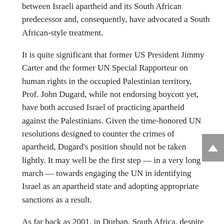between Israeli apartheid and its South African predecessor and, consequently, have advocated a South African-style treatment.
It is quite significant that former US President Jimmy Carter and the former UN Special Rapporteur on human rights in the occupied Palestinian territory, Prof. John Dugard, while not endorsing boycott yet, have both accused Israel of practicing apartheid against the Palestinians. Given the time-honored UN resolutions designed to counter the crimes of apartheid, Dugard's position should not be taken lightly. It may well be the first step — in a very long march — towards engaging the UN in identifying Israel as an apartheid state and adopting appropriate sanctions as a result.
As far back as 2001, in Durban, South Africa, despite the official West's unwillingness to hold Israel to account, the non-governmental organization forum of the UN World Conference Against Racism widely